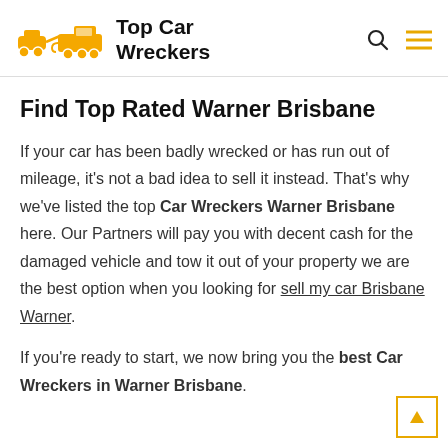Top Car Wreckers
Find Top Rated Warner Brisbane
If your car has been badly wrecked or has run out of mileage, it's not a bad idea to sell it instead. That's why we've listed the top Car Wreckers Warner Brisbane here. Our Partners will pay you with decent cash for the damaged vehicle and tow it out of your property we are the best option when you looking for sell my car Brisbane Warner.
If you're ready to start, we now bring you the best Car Wreckers in Warner Brisbane.